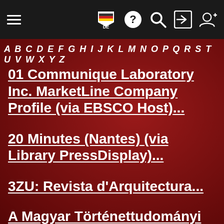Navigation bar with hamburger menu, flag/DE, help, search, login, register icons
A B C D E F G H I J K L M N O P Q R S T U V W X Y Z
01 Communique Laboratory Inc. MarketLine Company Profile (via EBSCO Host)...
20 Minutes (Nantes) (via Library PressDisplay)...
3ZU: Revista d'Arquitectura...
A Magyar Történettudományi Intézet Évkönyve...